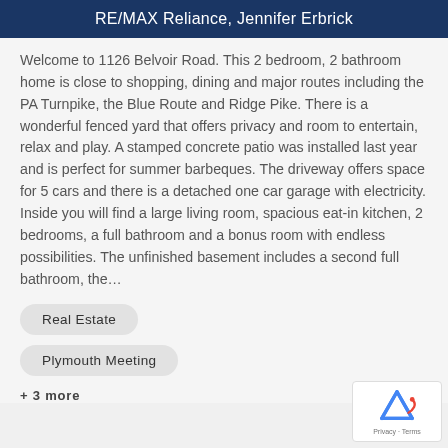RE/MAX Reliance, Jennifer Erbrick
Welcome to 1126 Belvoir Road. This 2 bedroom, 2 bathroom home is close to shopping, dining and major routes including the PA Turnpike, the Blue Route and Ridge Pike. There is a wonderful fenced yard that offers privacy and room to entertain, relax and play. A stamped concrete patio was installed last year and is perfect for summer barbeques. The driveway offers space for 5 cars and there is a detached one car garage with electricity. Inside you will find a large living room, spacious eat-in kitchen, 2 bedrooms, a full bathroom and a bonus room with endless possibilities. The unfinished basement includes a second full bathroom, the…
Real Estate
Plymouth Meeting
+ 3 more